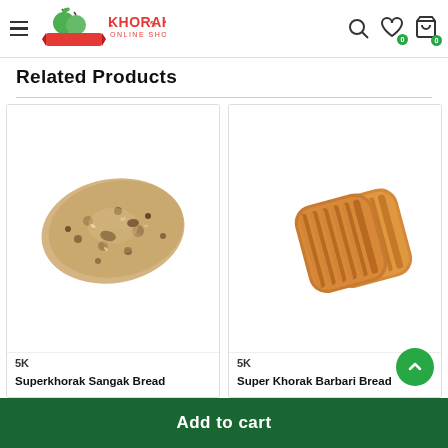Khorak Online Shop - navigation header with hamburger menu, logo, search, wishlist (0), cart (0)
Related Products
[Figure (photo): Photo of Superkhorak Sangak Bread - a flat, irregular-shaped whole wheat flatbread with dark spots]
5K
Superkhorak Sangak Bread
[Figure (photo): Photo of Super Khorak Barbari Bread - two golden-brown ridged flatbreads with parallel grooves]
5K
Super Khorak Barbari Bread
Add to cart